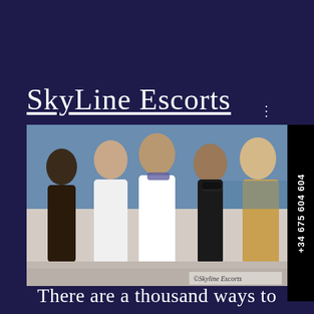SkyLine Escorts
[Figure (photo): Group of women posing on a yacht/boat outdoors, wearing stylish outfits including sunglasses. Watermark reads ©Skyline Escorts.]
+34 675 604 604
There are a thousand ways to